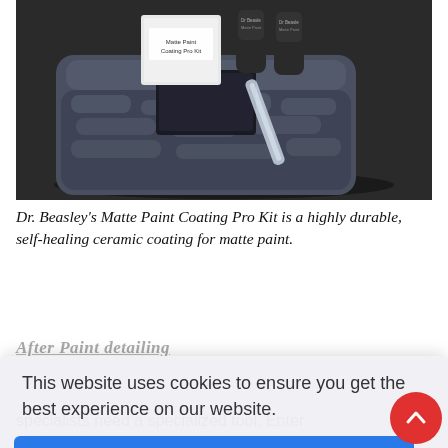[Figure (photo): Photo of Dr. Beasley's Matte Paint Coating Pro Kit product — showing a dark gray microfiber towel, a black foam applicator block, a clear plastic spreader tool, a white product box, and two small dark cylindrical bottles labeled Dr. Beasley's, arranged on a dark surface.]
Dr. Beasley's Matte Paint Coating Pro Kit is a highly durable, self-healing ceramic coating for matte paint.
specialists need a specialized tool. Enter
This website uses cookies to ensure you get the best experience on our website.
Got it!